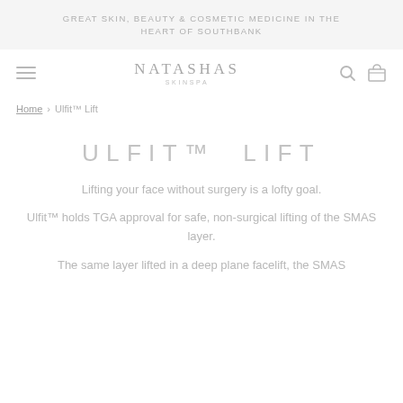GREAT SKIN, BEAUTY & COSMETIC MEDICINE IN THE HEART OF SOUTHBANK
[Figure (logo): NATASHAS SKINSPA logo with navigation icons (hamburger menu, search, bag)]
Home › Ulfit™ Lift
ULFIT™ LIFT
Lifting your face without surgery is a lofty goal.

Ulfit™ holds TGA approval for safe, non-surgical lifting of the SMAS layer.

The same layer lifted in a deep plane facelift, the SMAS